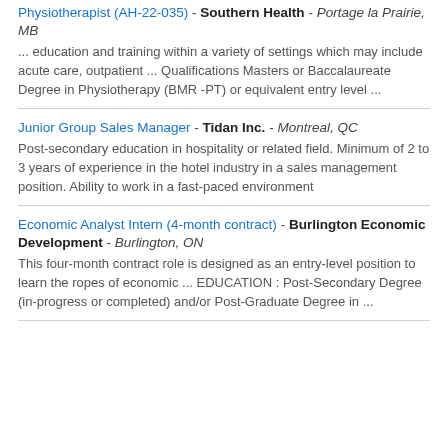Physiotherapist (AH-22-035) - Southern Health - Portage la Prairie, MB
... education and training within a variety of settings which may include acute care, outpatient ... Qualifications Masters or Baccalaureate Degree in Physiotherapy (BMR -PT) or equivalent entry level ...
Junior Group Sales Manager - Tidan Inc. - Montreal, QC
Post-secondary education in hospitality or related field. Minimum of 2 to 3 years of experience in the hotel industry in a sales management position. Ability to work in a fast-paced environment
Economic Analyst Intern (4-month contract) - Burlington Economic Development - Burlington, ON
This four-month contract role is designed as an entry-level position to learn the ropes of economic ... EDUCATION : Post-Secondary Degree (in-progress or completed) and/or Post-Graduate Degree in ...